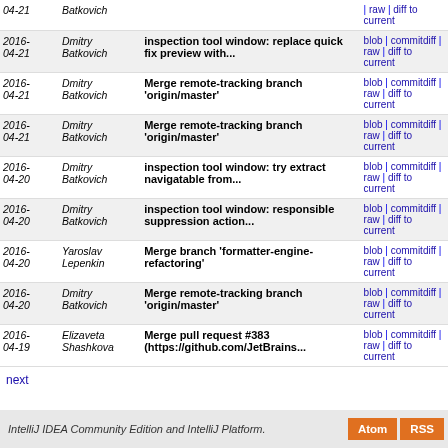| Date | Author | Message | Links |
| --- | --- | --- | --- |
| 2016-04-21 | Batkovich |  | blob | commitdiff | raw | diff to current |
| 2016-04-21 | Dmitry Batkovich | inspection tool window: replace quick fix preview with... | blob | commitdiff | raw | diff to current |
| 2016-04-21 | Dmitry Batkovich | Merge remote-tracking branch 'origin/master' | blob | commitdiff | raw | diff to current |
| 2016-04-21 | Dmitry Batkovich | Merge remote-tracking branch 'origin/master' | blob | commitdiff | raw | diff to current |
| 2016-04-20 | Dmitry Batkovich | inspection tool window: try extract navigatable from... | blob | commitdiff | raw | diff to current |
| 2016-04-20 | Dmitry Batkovich | inspection tool window: responsible suppression action... | blob | commitdiff | raw | diff to current |
| 2016-04-20 | Yaroslav Lepenkin | Merge branch 'formatter-engine-refactoring' | blob | commitdiff | raw | diff to current |
| 2016-04-20 | Dmitry Batkovich | Merge remote-tracking branch 'origin/master' | blob | commitdiff | raw | diff to current |
| 2016-04-19 | Elizaveta Shashkova | Merge pull request #383 (https://github.com/JetBrains... | blob | commitdiff | raw | diff to current |
next
IntelliJ IDEA Community Edition and IntelliJ Platform.